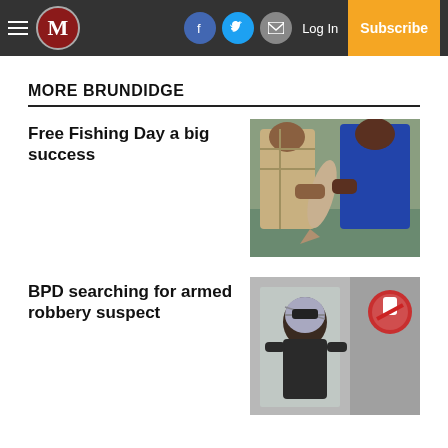M | Log In | Subscribe
MORE BRUNDIDGE
Free Fishing Day a big success
[Figure (photo): Two people holding a fish outdoors near water]
BPD searching for armed robbery suspect
[Figure (photo): Security camera footage of a masked robbery suspect]